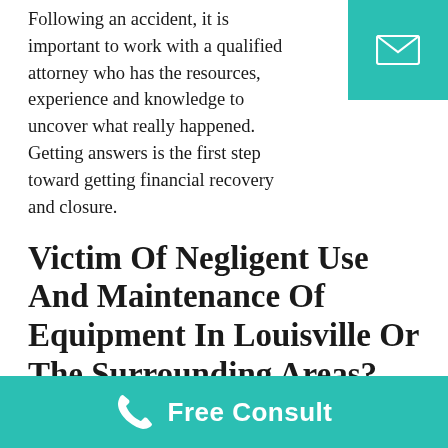Following an accident, it is important to work with a qualified attorney who has the resources, experience and knowledge to uncover what really happened. Getting answers is the first step toward getting financial recovery and closure.
Victim Of Negligent Use And Maintenance Of Equipment In Louisville Or The Surrounding Areas?
If you or a loved one suffered injuries due to negligent use and maintenance of equipment
Free Consult